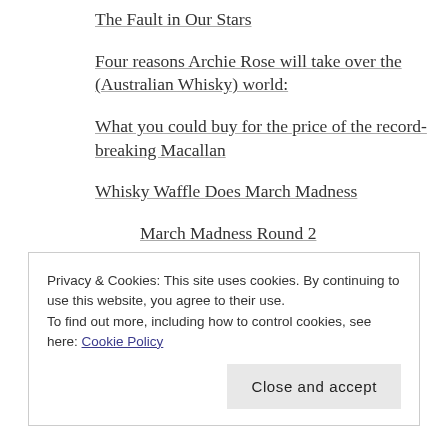The Fault in Our Stars
Four reasons Archie Rose will take over the (Australian Whisky) world:
What you could buy for the price of the record-breaking Macallan
Whisky Waffle Does March Madness
March Madness Round 2
March Madness Round 3
March Madness Quarter Finals
March Madness Semi Finals
March Madness Grand Final
Privacy & Cookies: This site uses cookies. By continuing to use this website, you agree to their use.
To find out more, including how to control cookies, see here: Cookie Policy
A whisky identity crisis